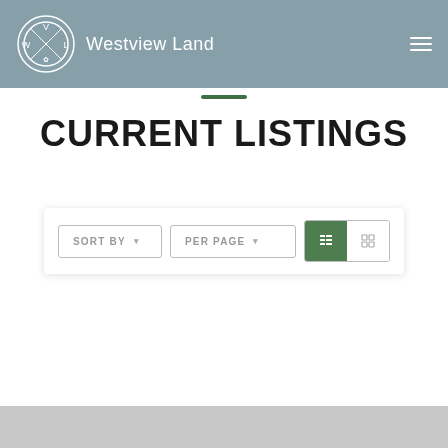Westview Land
CURRENT LISTINGS
[Figure (screenshot): Filter bar with SORT BY dropdown, PER PAGE dropdown, and list/grid view toggle buttons; list view active (green background)]
[Figure (photo): Bottom of page showing partial image strip in grey]